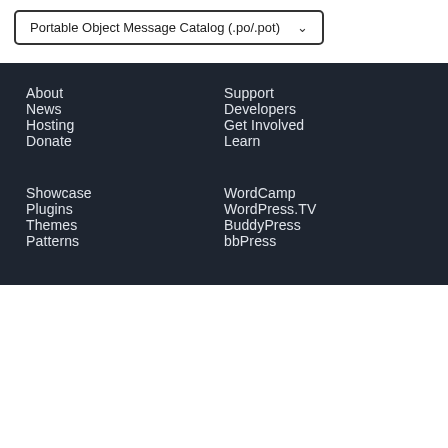Portable Object Message Catalog (.po/.pot)
About
News
Hosting
Donate
Support
Developers
Get Involved
Learn
Showcase
Plugins
Themes
Patterns
WordCamp
WordPress.TV
BuddyPress
bbPress